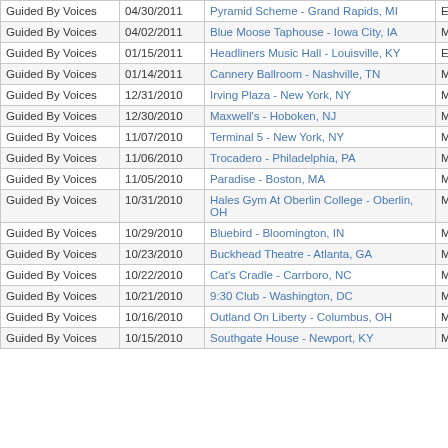| Artist | Date | Venue | Set |  |  |
| --- | --- | --- | --- | --- | --- |
| Guided By Voices | 04/30/2011 | Pyramid Scheme - Grand Rapids, MI | Encore 2 |  |  |
| Guided By Voices | 04/02/2011 | Blue Moose Taphouse - Iowa City, IA | Main |  |  |
| Guided By Voices | 01/15/2011 | Headliners Music Hall - Louisville, KY | Encore 1 |  |  |
| Guided By Voices | 01/14/2011 | Cannery Ballroom - Nashville, TN | Main |  |  |
| Guided By Voices | 12/31/2010 | Irving Plaza - New York, NY | Main |  |  |
| Guided By Voices | 12/30/2010 | Maxwell's - Hoboken, NJ | Main |  |  |
| Guided By Voices | 11/07/2010 | Terminal 5 - New York, NY | Main |  |  |
| Guided By Voices | 11/06/2010 | Trocadero - Philadelphia, PA | Main |  |  |
| Guided By Voices | 11/05/2010 | Paradise - Boston, MA | Main |  |  |
| Guided By Voices | 10/31/2010 | Hales Gym At Oberlin College - Oberlin, OH | Main |  |  |
| Guided By Voices | 10/29/2010 | Bluebird - Bloomington, IN | Main |  |  |
| Guided By Voices | 10/23/2010 | Buckhead Theatre - Atlanta, GA | Main |  |  |
| Guided By Voices | 10/22/2010 | Cat's Cradle - Carrboro, NC | Main |  |  |
| Guided By Voices | 10/21/2010 | 9:30 Club - Washington, DC | Main |  |  |
| Guided By Voices | 10/16/2010 | Outland On Liberty - Columbus, OH | Main |  |  |
| Guided By Voices | 10/15/2010 | Southgate House - Newport, KY | Main |  |  |